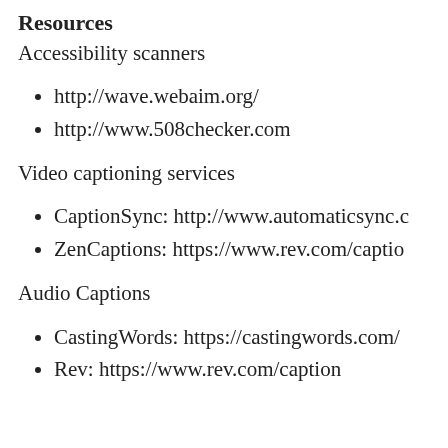Resources
Accessibility scanners
http://wave.webaim.org/
http://www.508checker.com
Video captioning services
CaptionSync: http://www.automaticsync.c
ZenCaptions: https://www.rev.com/captio
Audio Captions
CastingWords: https://castingwords.com/
Rev: https://www.rev.com/caption